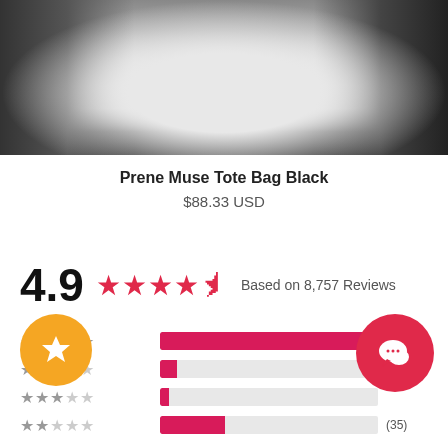[Figure (photo): Product photo of a white tote bag with dark background elements on sides]
Prene Muse Tote Bag Black
$88.33 USD
4.9 ★★★★½ Based on 8,757 Reviews
| Stars | Bar | Count |
| --- | --- | --- |
| ★★★★★ |  | (8298) |
| ★★★★☆ |  |  |
| ★★★☆☆ |  |  |
| ★★☆☆☆ |  | (35) |